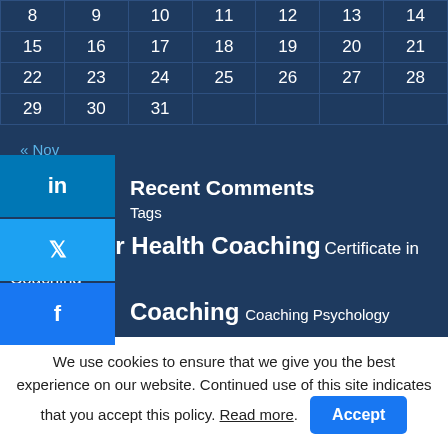| 8 | 9 | 10 | 11 | 12 | 13 | 14 |
| 15 | 16 | 17 | 18 | 19 | 20 | 21 |
| 22 | 23 | 24 | 25 | 26 | 27 | 28 |
| 29 | 30 | 31 |  |  |  |  |
« Nov
Recent Comments
Tags
Centre for Health Coaching  Certificate in Coaching  Coaching  Coaching Psychology International  Corse Dates  COVID-19  Definition  Ecopsychology  Edinburgh workshop  European
We use cookies to ensure that we give you the best experience on our website. Continued use of this site indicates that you accept this policy. Read more.
Accept